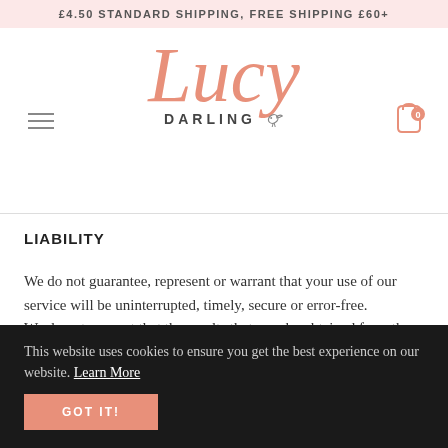£4.50 STANDARD SHIPPING, FREE SHIPPING £60+
[Figure (logo): Lucy Darling brand logo in pink/salmon script with 'DARLING' in small caps and a small bird illustration]
LIABILITY
We do not guarantee, represent or warrant that your use of our service will be uninterrupted, timely, secure or error-free.
We do not warrant that the results that may be obtained from the use of the service will be accurate or reliable.
This website uses cookies to ensure you get the best experience on our website. Learn More
GOT IT!